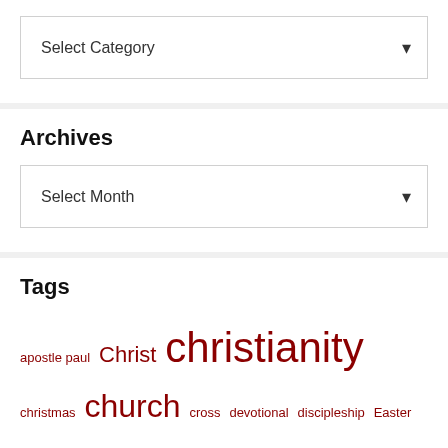[Figure (screenshot): A 'Select Category' dropdown widget in a white box with light gray border]
Archives
[Figure (screenshot): A 'Select Month' dropdown widget in a white box with light gray border]
Tags
apostle paul Christ christianity christmas church cross devotional discipleship Easter faith father fear